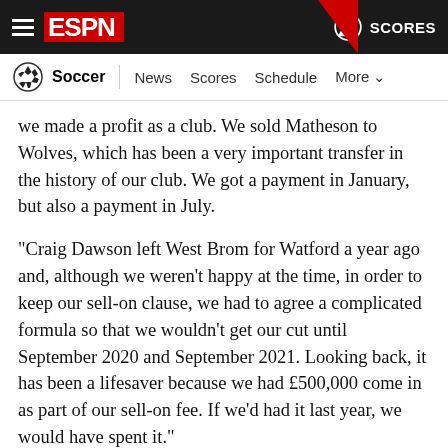ESPN - Soccer | News  Scores  Schedule  More
we made a profit as a club. We sold Matheson to Wolves, which has been a very important transfer in the history of our club. We got a payment in January, but also a payment in July.
"Craig Dawson left West Brom for Watford a year ago and, although we weren't happy at the time, in order to keep our sell-on clause, we had to agree a complicated formula so that we wouldn't get our cut until September 2020 and September 2021. Looking back, it has been a lifesaver because we had £500,000 come in as part of our sell-on fee. If we'd had it last year, we would have spent it."
Money in the bank is one thing, but when that money belongs to supporters, it raises a difficult issue. Rochdale sold season tickets and corporate facilities in the expectation fans would be